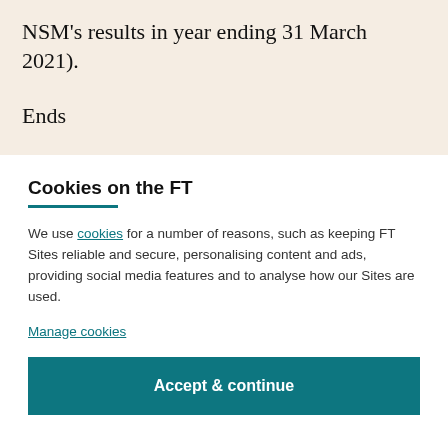NSM's results in year ending 31 March 2021).
Ends
Cookies on the FT
We use cookies for a number of reasons, such as keeping FT Sites reliable and secure, personalising content and ads, providing social media features and to analyse how our Sites are used.
Manage cookies
Accept & continue